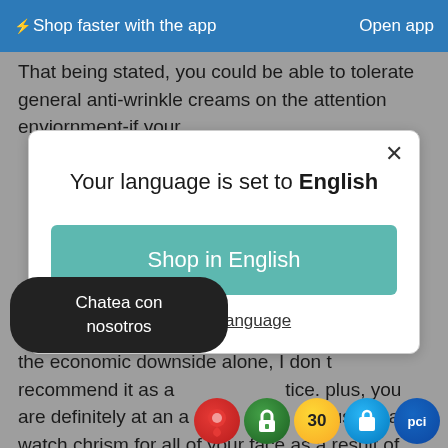⚡Shop faster with the app   Open app
That being stated, you could be able to tolerate general anti-wrinkle creams on the attention enviornment-if your
[Figure (screenshot): A modal dialog saying 'Your language is set to English' with a teal 'Shop in English' button and a 'Change language' link, plus a close X button.]
the economic downside alone, I don t recommend it as a practice. plus, you are definitely at an advantage the use of a watch chrism for all of your face as a result of your fa...
Chatea con nosotros